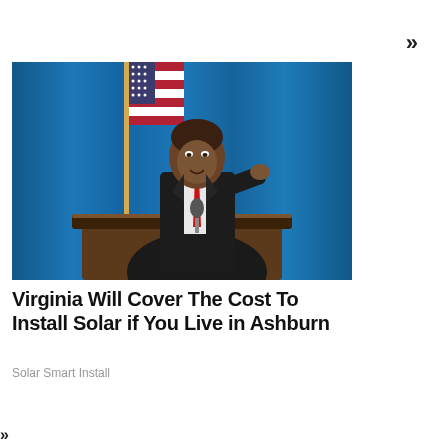»
[Figure (photo): A man in a dark suit with a red tie stands at a wooden podium, pointing with his index finger toward the camera. An American flag is visible behind him to the left, and a blue curtain fills the background. A microphone is in front of him.]
Virginia Will Cover The Cost To Install Solar if You Live in Ashburn
Solar Smart Install
»